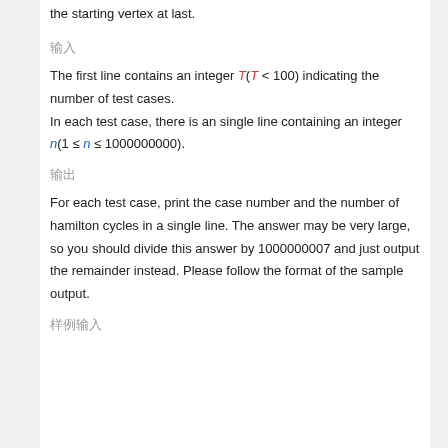the starting vertex at last.
输入
The first line contains an integer T(T < 100) indicating the number of test cases. In each test case, there is an single line containing an integer n(1 ≤ n ≤ 1000000000).
输出
For each test case, print the case number and the number of hamilton cycles in a single line. The answer may be very large, so you should divide this answer by 1000000007 and just output the remainder instead. Please follow the format of the sample output.
样例输入